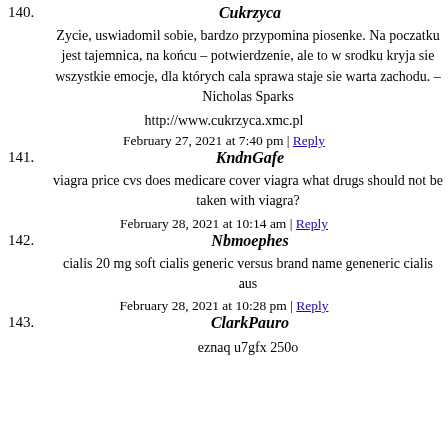140. Cukrzyca
Zycie, uswiadomil sobie, bardzo przypomina piosenke. Na poczatku jest tajemnica, na końcu – potwierdzenie, ale to w srodku kryja sie wszystkie emocje, dla których cala sprawa staje sie warta zachodu. – Nicholas Sparks
http://www.cukrzyca.xmc.pl
February 27, 2021 at 7:40 pm | Reply
141. KndnGafe
viagra price cvs does medicare cover viagra what drugs should not be taken with viagra?
February 28, 2021 at 10:14 am | Reply
142. Nbmoephes
cialis 20 mg soft cialis generic versus brand name geneneric cialis aus
February 28, 2021 at 10:28 pm | Reply
143. ClarkPauro
eznaq u7gfx 250o